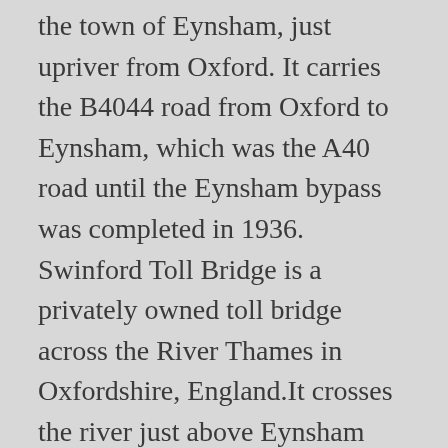the town of Eynsham, just upriver from Oxford. It carries the B4044 road from Oxford to Eynsham, which was the A40 road until the Eynsham bypass was completed in 1936. Swinford Toll Bridge is a privately owned toll bridge across the River Thames in Oxfordshire, England.It crosses the river just above Eynsham Lock, between the village of Eynsham on the west bank and the small settlement of Swinford on the east bank (in Berkshire until 1974). The Oxfordshire Branch of the MND Association received an invitation to use the Swinford Toll Bridge this year on one of their Bank Holiday Charity days – May 29th. Swinford, (Irish: Béal Átha na Muice, meaning "ford-mouth of the pig"), is a town in